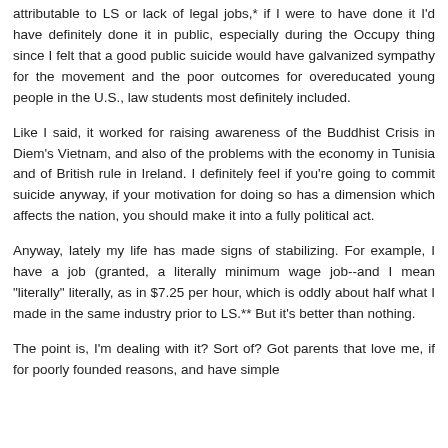attributable to LS or lack of legal jobs,* if I were to have done it I'd have definitely done it in public, especially during the Occupy thing since I felt that a good public suicide would have galvanized sympathy for the movement and the poor outcomes for overeducated young people in the U.S., law students most definitely included.
Like I said, it worked for raising awareness of the Buddhist Crisis in Diem's Vietnam, and also of the problems with the economy in Tunisia and of British rule in Ireland. I definitely feel if you're going to commit suicide anyway, if your motivation for doing so has a dimension which affects the nation, you should make it into a fully political act.
Anyway, lately my life has made signs of stabilizing. For example, I have a job (granted, a literally minimum wage job--and I mean "literally" literally, as in $7.25 per hour, which is oddly about half what I made in the same industry prior to LS.** But it's better than nothing.
The point is, I'm dealing with it? Sort of? Got parents that love me, if for poorly founded reasons, and have simple